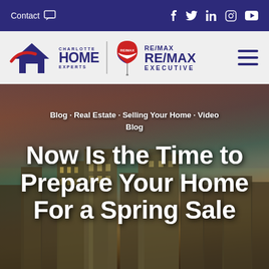Contact | f  in  (social icons)
[Figure (logo): Charlotte Home Experts | RE/MAX Executive logo with hamburger menu icon]
[Figure (photo): Hero image of Charlotte NC city skyline at dusk with purple/orange sky]
Blog · Real Estate · Selling Your Home · Video Blog
Now Is the Time to Prepare Your Home For a Spring Sale